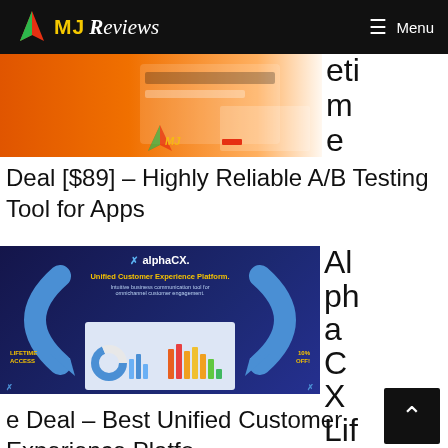MJ Reviews  Menu
[Figure (screenshot): Partial screenshot of a software/app interface on orange background with text partially visible on the right side reading 'etime']
Deal [$89] – Highly Reliable A/B Testing Tool for Apps
[Figure (screenshot): AlphaCX Unified Customer Experience Platform advertisement banner. Dark blue background with text: 'alphaCX. Unified Customer Experience Platform. Intuitive business communication tool for omnichannel customer engagement.' LIFETIME ACCESS badge on left, 10% OFF! badge on right. Dashboard screenshot visible. Partial text on right: 'AlphaCX Lifetime']
e Deal – Best Unified Customer Experience Platform 2022